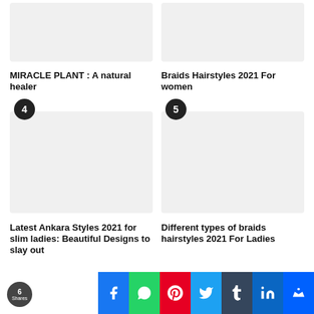[Figure (photo): Top-left image placeholder (article thumbnail)]
MIRACLE PLANT : A natural healer
[Figure (photo): Top-right image placeholder (article thumbnail)]
Braids Hairstyles 2021 For women
[Figure (photo): Bottom-left image placeholder with badge 4 (article thumbnail)]
Latest Ankara Styles 2021 for slim ladies: Beautiful Designs to slay out
[Figure (photo): Bottom-right image placeholder with badge 5 (article thumbnail)]
Different types of braids hairstyles 2021 For Ladies